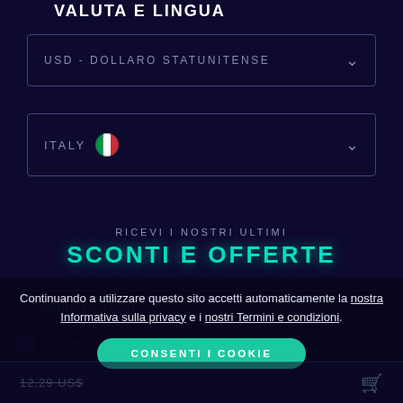VALUTA E LINGUA
USD - DOLLARO STATUNITENSE
ITALY
RICEVI I NOSTRI ULTIMI
SCONTI E OFFERTE
INDIRIZZO EMAIL
ACCETTO I TERMINI E LE CONDIZIONI SULLA PRIVACY
Continuando a utilizzare questo sito accetti automaticamente la nostra Informativa sulla privacy e i nostri Termini e condizioni.
CONSENTI I COOKIE
12,29 US$